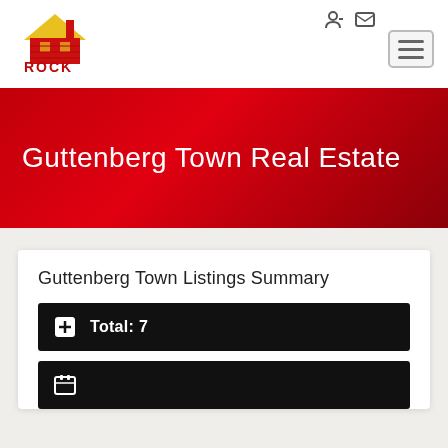[Figure (logo): Rock Realtors logo with house icon and red text]
Guttenberg Town Real Estate
Guttenberg Town Listings Summary
Total: 7